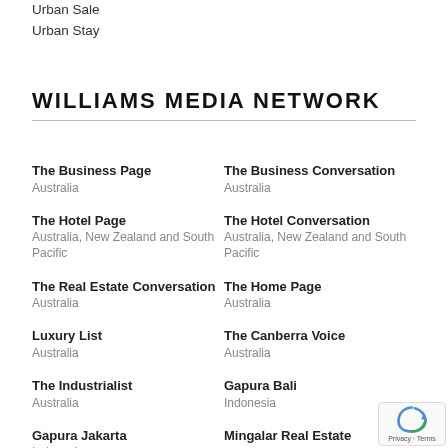Urban Sale
Urban Stay
WILLIAMS MEDIA NETWORK
The Business Page
Australia
The Business Conversation
Australia
The Hotel Page
Australia, New Zealand and South Pacific
The Hotel Conversation
Australia, New Zealand and South Pacific
The Real Estate Conversation
Australia
The Home Page
Australia
Luxury List
Australia
The Canberra Voice
Australia
The Industrialist
Australia
Gapura Bali
Indonesia
Gapura Jakarta
Indonesia
Mingalar Real Estate Conversation
Yangon, Myanmar